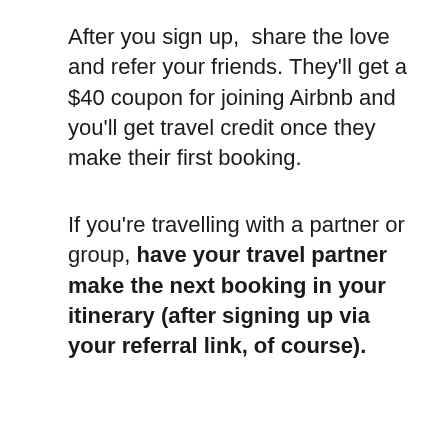After you sign up,  share the love and refer your friends. They'll get a $40 coupon for joining Airbnb and you'll get travel credit once they make their first booking.
If you're travelling with a partner or group, have your travel partner make the next booking in your itinerary (after signing up via your referral link, of course).